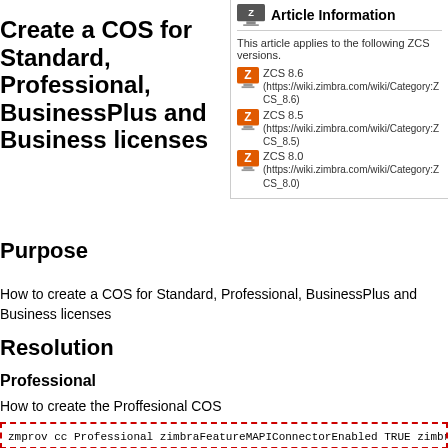Create a COS for Standard, Professional, BusinessPlus and Business licenses
[Figure (infographic): Article Information box with Zimbra Z icon header and ZCS version badges for 8.6, 8.5, and 8.0 with links]
Purpose
How to create a COS for Standard, Professional, BusinessPlus and Business licenses
Resolution
Professional
How to create the Proffesional COS
zmprov cc Professional zimbraFeatureMAPIConnectorEnabled TRUE zimbraFe